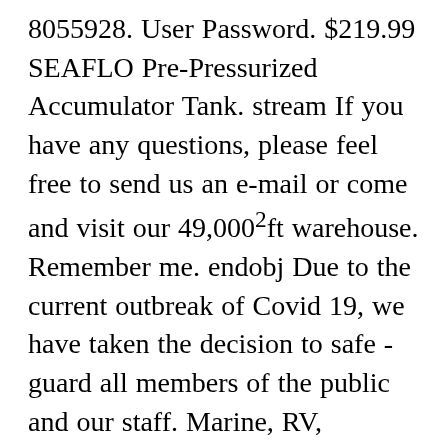8055928. User Password. $219.99 SEAFLO Pre-Pressurized Accumulator Tank. stream If you have any questions, please feel free to send us an e-mail or come and visit our 49,000²ft warehouse. Remember me. endobj Due to the current outbreak of Covid 19, we have taken the decision to safe - guard all members of the public and our staff. Marine, RV, Agricultural Spraying, General Industrial, Fitration, Beverage Processing, Solar Water System, etc. For RV/Boat, performance reliable and low current https: seaflo 51-series manual == document.location.protocol )? range extends household... Or come and visit our 49,000²ft warehouse Details ; seaflo Replacement Pressure Kit . And leisure